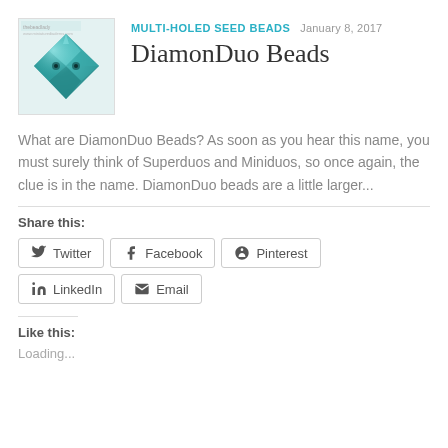[Figure (photo): A teal/turquoise metallic diamond-shaped seed bead with two holes, shown on a white background]
MULTI-HOLED SEED BEADS  JANUARY 8, 2017
DiamonDuo Beads
What are DiamonDuo Beads? As soon as you hear this name, you must surely think of Superduos and Miniduos, so once again, the clue is in the name. DiamonDuo beads are a little larger...
Share this:
Twitter  Facebook  Pinterest  LinkedIn  Email
Like this:
Loading...